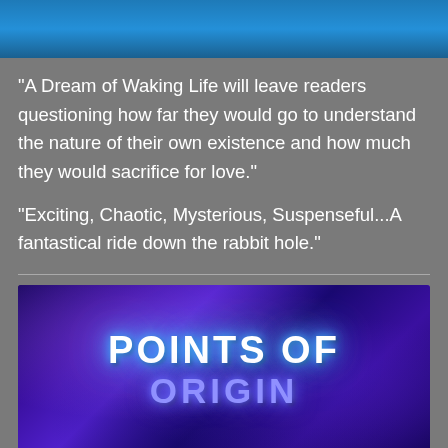[Figure (photo): Top portion of a book cover image with blue tones, partially cropped]
"A Dream of Waking Life will leave readers questioning how far they would go to understand the nature of their own existence and how much they would sacrifice for love."
"Exciting, Chaotic, Mysterious, Suspenseful...A fantastical ride down the rabbit hole."
[Figure (photo): Book cover for 'Points of Origin' with a space/galaxy background in purple and blue tones, with glowing white and blue text]